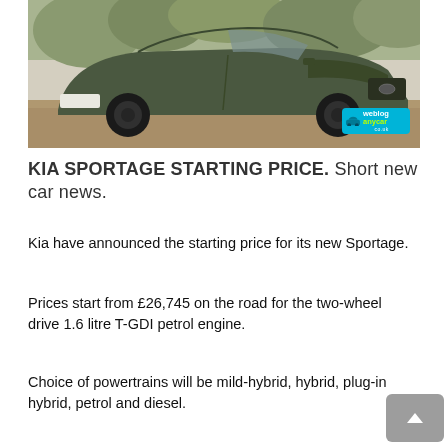[Figure (photo): Dark green Kia Sportage SUV photographed from front-left angle on a gravel surface. Weblog AnyCarr logo badge visible in bottom-right corner of the image.]
KIA SPORTAGE STARTING PRICE. Short new car news.
Kia have announced the starting price for its new Sportage.
Prices start from £26,745 on the road for the two-wheel drive 1.6 litre T-GDI petrol engine.
Choice of powertrains will be mild-hybrid, hybrid, plug-in hybrid, petrol and diesel.